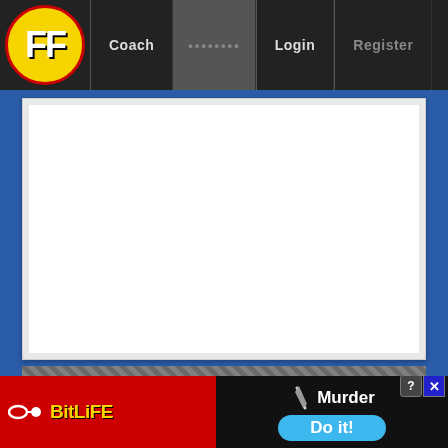FF Coach ........ Login Register
[Figure (screenshot): White advertisement placeholder box]
FAN TOOLS
[Figure (logo): Fan Tools logo with hammer and wrench icons]
Check out an arsenal of advanced tools. Use the Boys on the Bubble DT/SC for players about to change in price. Ride the Rollercoaster DT/SC for price trends. Try the Breakdown DT/SC for club-vs-position histories. The Tribunal page lists players with points and/or loading from charges. See who’s hot in public Dream Teams and DT/SC popularity lists.
[Figure (screenshot): BitLife advertisement banner at bottom with Murder Do it! call to action]